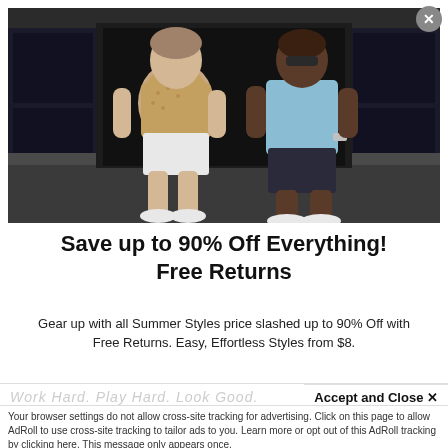[Figure (photo): Two young men sitting casually outdoors in front of dark storefront windows. Left man wears a patterned short-sleeve shirt and white shorts; right man wears a light blue t-shirt and dark shorts with sunglasses.]
Save up to 90% Off Everything! Free Returns
Gear up with all Summer Styles price slashed up to 90% Off with Free Returns. Easy, Effortless Styles from $8.
Work Hard. Play Hard. Look Good.
Accept and Close ✕
Your browser settings do not allow cross-site tracking for advertising. Click on this page to allow AdRoll to use cross-site tracking to tailor ads to you. Learn more or opt out of this AdRoll tracking by clicking here. This message only appears once.